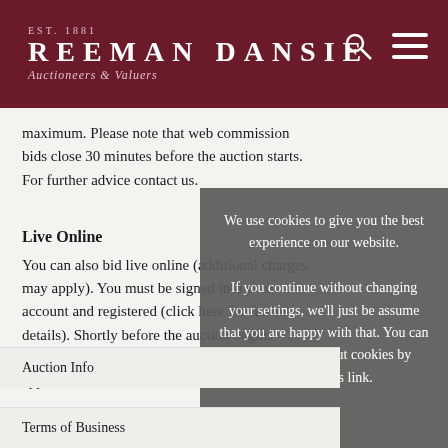EST. 1881 REEMAN DANSIE Auctioneers & Valuers
maximum. Please note that web commission bids close 30 minutes before the auction starts. For further advice contact us.
Live Online
You can also bid live online (additional charges may apply). You must be signed into your account and registered (click here for further details). Shortly before the auction begins (usually half an hour) the 'Bid Live' button will appear.
We use cookies to give you the best experience on our website. If you continue without changing your settings, we'll just be assume that you are happy with that. You can find out more about cookies by clicking this link.
OK
Auction Info
Terms of Business